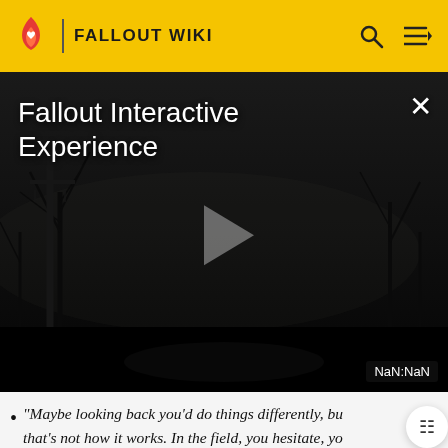FALLOUT WIKI
[Figure (screenshot): Video player showing Fallout Interactive Experience with dark atmospheric background, play button in center, close X button top right, NaN:NaN time display bottom right]
Fallout Interactive Experience
"Maybe looking back you'd do things differently, but that's not how it works. In the field, you hesitate, you or someone you care about will die. They teach that from day one. [...] You don't come out of a tour of duty